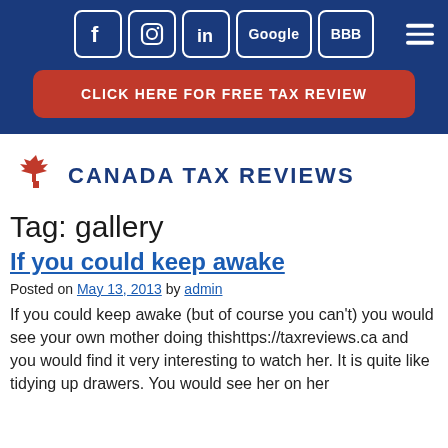Canada Tax Reviews website header with social icons (Facebook, Instagram, LinkedIn, Google, BBB) and CLICK HERE FOR FREE TAX REVIEW button
[Figure (logo): Canada Tax Reviews logo with red maple leaf and dark blue bold text CANADA TAX REVIEWS]
Tag: gallery
If you could keep awake
Posted on May 13, 2013 by admin
If you could keep awake (but of course you can't) you would see your own mother doing thishttps://taxreviews.ca and you would find it very interesting to watch her. It is quite like tidying up drawers. You would see her on her